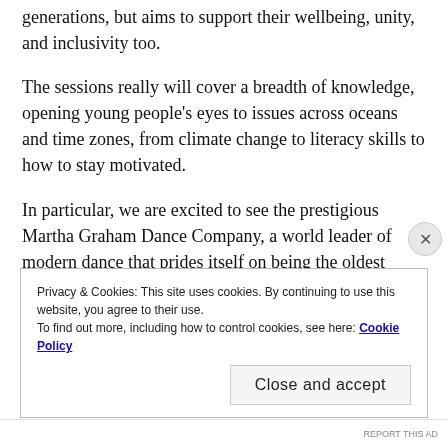generations, but aims to support their wellbeing, unity, and inclusivity too.
The sessions really will cover a breadth of knowledge, opening young people's eyes to issues across oceans and time zones, from climate change to literacy skills to how to stay motivated.
In particular, we are excited to see the prestigious Martha Graham Dance Company, a world leader of modern dance that prides itself on being the oldest American dance company, showcase their stories to empower youngsters to overcome adversity through
Privacy & Cookies: This site uses cookies. By continuing to use this website, you agree to their use.
To find out more, including how to control cookies, see here: Cookie Policy
Close and accept